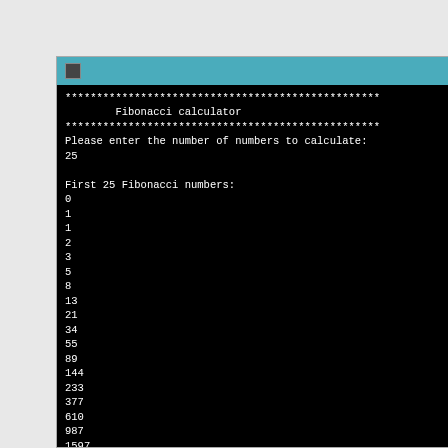[Figure (screenshot): Windows command prompt / console window showing a Fibonacci calculator program output. Title bar is teal/cyan. Console shows asterisk banner, 'Fibonacci calculator' title, prompt for number of numbers, input '25', and then 'First 25 Fibonacci numbers:' followed by the sequence: 0, 1, 1, 2, 3, 5, 8, 13, 21, 34, 55, 89, 144, 233, 377, 610, 987, 1597, 2584, 4181, 6765 (partially visible).]